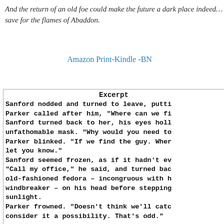And the return of an old foe could make the future a dark place indeed… save for the flames of Abaddon.
Amazon Print-Kindle -BN
Excerpt
Sanford nodded and turned to leave, putti Parker called after him, "Where can we fi Sanford turned back to her, his eyes holl unfathomable mask. "Why would you need to Parker blinked. "If we find the guy. Wher let you know."
Sanford seemed frozen, as if it hadn't ev "Call my office," he said, and turned bac old-fashioned fedora – incongruous with h windbreaker – on his head before stepping sunlight.
Parker frowned. "Doesn't think we'll catc consider it a possibility. That's odd."